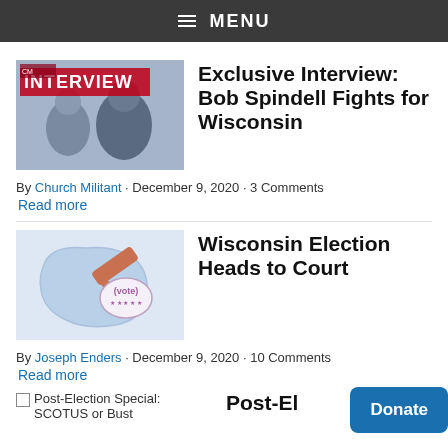MENU
Exclusive Interview: Bob Spindell Fights for Wisconsin
By Church Militant · December 9, 2020 · 3 Comments
Read more
Wisconsin Election Heads to Court
By Joseph Enders · December 9, 2020 · 10 Comments
Read more
Post-Election Special: SCOTUS or Bust
Post-Election Special:
Donate